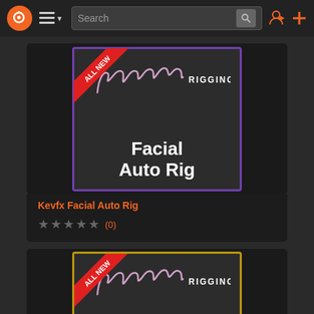Navigation bar with logo, menu, search, login and add buttons
[Figure (screenshot): Product card for Kevfx Facial Auto Rig with purple-bordered product box showing logo and text 'Facial Auto Rig' with ALL NEW red badge]
Kevfx Facial Auto Rig
★★★★★ (0)
[Figure (screenshot): Second product card with gold-bordered product box showing Kevfx Rigging logo with ALL NEW red badge]